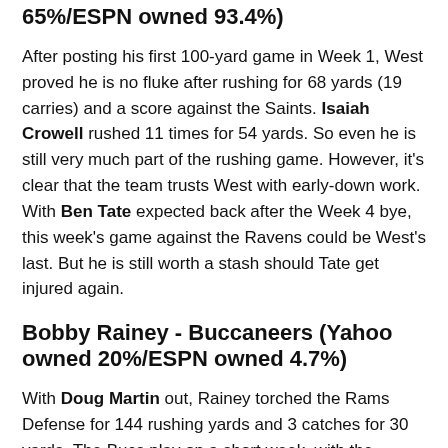65%/ESPN owned 93.4%)
After posting his first 100-yard game in Week 1, West proved he is no fluke after rushing for 68 yards (19 carries) and a score against the Saints. Isaiah Crowell rushed 11 times for 54 yards. So even he is still very much part of the rushing game. However, it's clear that the team trusts West with early-down work. With Ben Tate expected back after the Week 4 bye, this week's game against the Ravens could be West's last. But he is still worth a stash should Tate get injured again.
Bobby Rainey - Buccaneers (Yahoo owned 20%/ESPN owned 4.7%)
With Doug Martin out, Rainey torched the Rams Defense for 144 rushing yards and 3 catches for 30 yards. The Bucs play on a short week, with the Falcons coming up